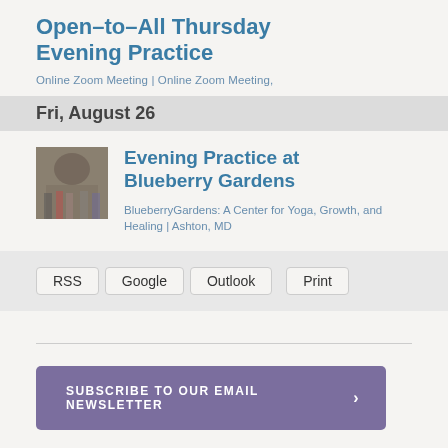Open–to–All Thursday Evening Practice
Online Zoom Meeting | Online Zoom Meeting,
Fri, August 26
[Figure (photo): Small thumbnail photo of people gathered outdoors in front of a domed building]
Evening Practice at Blueberry Gardens
BlueberryGardens: A Center for Yoga, Growth, and Healing | Ashton, MD
RSS   Google   Outlook   Print
SUBSCRIBE TO OUR EMAIL NEWSLETTER  ›
This week's discussion topic